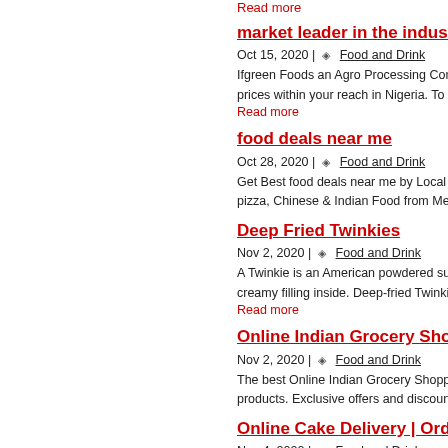Read more
market leader in the indust…
Oct 15, 2020 | ◈  Food and Drink
Ifgreen Foods an Agro Processing Company th… prices within your reach in Nigeria. To be one o…
Read more
food deals near me
Oct 28, 2020 | ◈  Food and Drink
Get Best food deals near me by Local Chefs. … pizza, Chinese & Indian Food from MealBrite …
Deep Fried Twinkies
Nov 2, 2020 | ◈  Food and Drink
A Twinkie is an American powdered sugar sna… creamy filling inside. Deep-fried Twinkies are t…
Read more
Online Indian Grocery Sho…
Nov 2, 2020 | ◈  Food and Drink
The best Online Indian Grocery Shopping UK. … products. Exclusive offers and discounts on In…
Online Cake Delivery | Orde…
Nov 4, 2020 | ◈  Food and Drink
CakeExpo is a platform to connect home bake… the cake design for each celebration. You can …
Read more